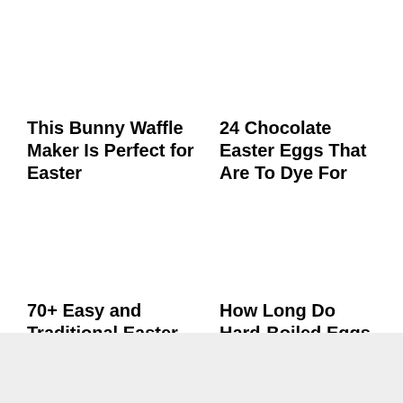This Bunny Waffle Maker Is Perfect for Easter
24 Chocolate Easter Eggs That Are To Dye For
70+ Easy and Traditional Easter Dinner Ideas
How Long Do Hard-Boiled Eggs Last?